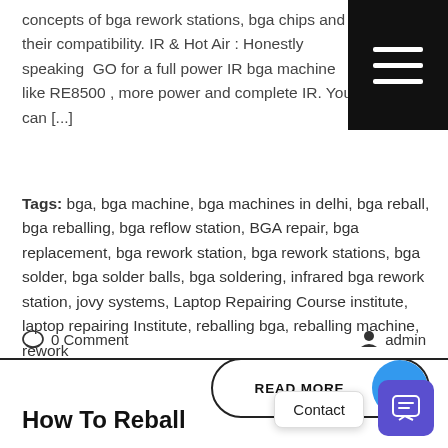concepts of bga rework stations, bga chips and their compatibility. IR & Hot Air : Honestly speaking  GO for a full power IR bga machine like RE8500 , more power and complete IR. You can [...]
Tags: bga, bga machine, bga machines in delhi, bga reball, bga reballing, bga reflow station, BGA repair, bga replacement, bga rework station, bga rework stations, bga solder, bga solder balls, bga soldering, infrared bga rework station, jovy systems, Laptop Repairing Course institute, laptop repairing Institute, reballing bga, reballing machine, rework
[Figure (other): READ MORE button with blue arrow circle]
0 Comment
admin
Contact
How To Reball